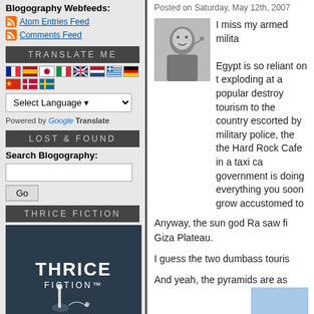Blogography Webfeeds:
Atom Entries Feed
Comments Feed
TRANSLATE ME
[Figure (other): Row of country flags for language translation]
Select Language (dropdown)
Powered by Google Translate
LOST & FOUND
Search Blogography:
Go (button)
THRICE FICTION
[Figure (illustration): Thrice Fiction book cover — dark blue background with THRICE FICTION text and small white figure with cat]
Posted on Saturday, May 12th, 2007
[Figure (photo): Black and white photo of a man pointing at the camera]
I miss my armed milita
Egypt is so reliant on t exploding at a popular destroy tourism to the country escorted by military police, the the Hard Rock Cafe in a taxi ca government is doing everything you soon grow accustomed to
Anyway, the sun god Ra saw fi Giza Plateau.
I guess the two dumbass touris
And yeah, the pyramids are as
[Figure (photo): Blue sky photo partially visible at bottom right]